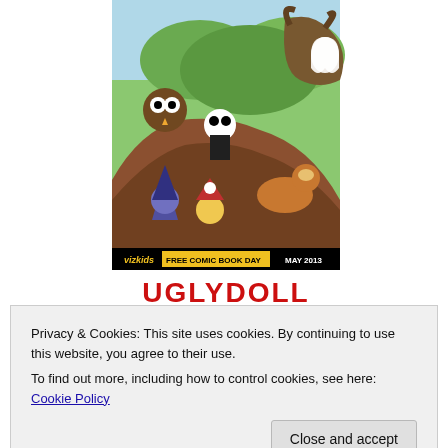[Figure (illustration): VizKids Free Comic Book Day May 2013 comic book cover featuring cartoon characters including an owl, vampire, wizard, pirate, corgi dog, and monster characters on a brown log/tree trunk background with green foliage. Title reads UGLYDOLL in red letters at the bottom.]
Privacy & Cookies: This site uses cookies. By continuing to use this website, you agree to their use.
To find out more, including how to control cookies, see here: Cookie Policy
Close and accept
[Figure (illustration): Bottom portion of another comic book cover showing cartoon characters on green background, partially visible.]